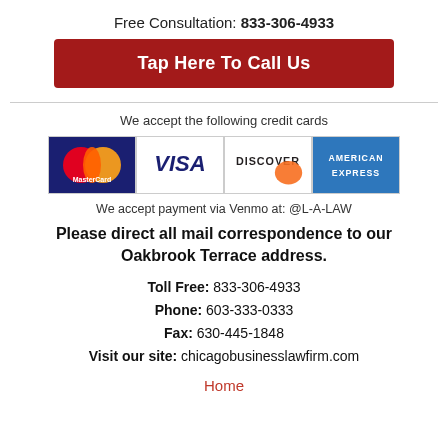Free Consultation: 833-306-4933
Tap Here To Call Us
We accept the following credit cards
[Figure (logo): Credit card logos: MasterCard, Visa, Discover, American Express]
We accept payment via Venmo at: @L-A-LAW
Please direct all mail correspondence to our Oakbrook Terrace address.
Toll Free: 833-306-4933
Phone: 603-333-0333
Fax: 630-445-1848
Visit our site: chicagobusinesslawfirm.com
Home